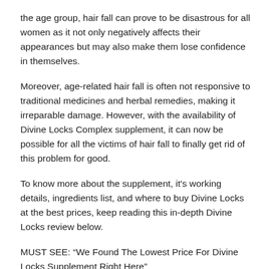the age group, hair fall can prove to be disastrous for all women as it not only negatively affects their appearances but may also make them lose confidence in themselves.
Moreover, age-related hair fall is often not responsive to traditional medicines and herbal remedies, making it irreparable damage. However, with the availability of Divine Locks Complex supplement, it can now be possible for all the victims of hair fall to finally get rid of this problem for good.
To know more about the supplement, it's working details, ingredients list, and where to buy Divine Locks at the best prices, keep reading this in-depth Divine Locks review below.
MUST SEE: “We Found The Lowest Price For Divine Locks Supplement Right Here”
Divine Locks Review
In women, it is normal to experience a hair fall of 50 to 100